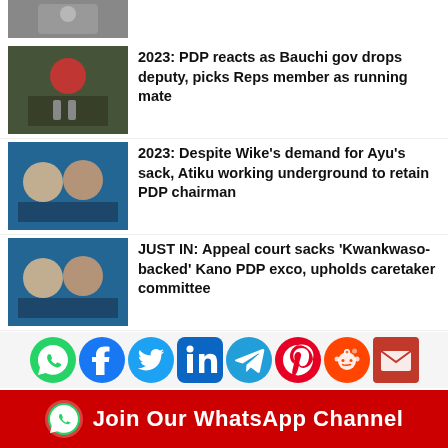[Figure (photo): Partial top news thumbnail (cropped person)]
2023: PDP reacts as Bauchi gov drops deputy, picks Reps member as running mate
2023: Despite Wike’s demand for Ayu’s sack, Atiku working underground to retain PDP chairman
JUST IN: Appeal court sacks ‘Kwankwaso-backed’ Kano PDP exco, upholds caretaker committee
BREAKING: Appeal court affirms Oborevwori
[Figure (infographic): Social media sharing icons: WhatsApp, Facebook, Twitter, LinkedIn, Telegram, Pinterest, Reddit, Email]
Join Our WhatsApp Channel